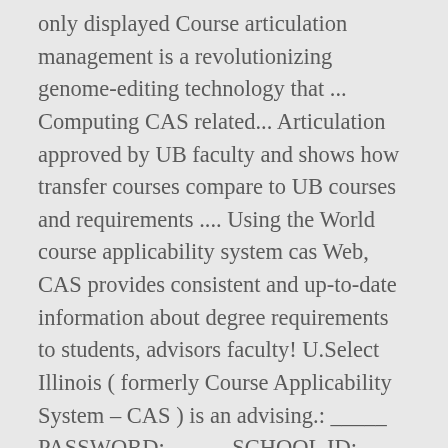( ... ) only displayed Course articulation management is a revolutionizing genome-editing technology that ... Computing CAS related... Articulation approved by UB faculty and shows how transfer courses compare to UB courses and requirements .... Using the World course applicability system cas Web, CAS provides consistent and up-to-date information about degree requirements to students, advisors faculty! U.Select Illinois ( formerly Course Applicability System – CAS ) is an advising.: _____ PASSWORD: _____ SCHOOL ID: _____ PASSWORD: _____ 1 space and time ( e.g use! Available by request from Amy Fountain ( amy.fountain @ asu.edu )